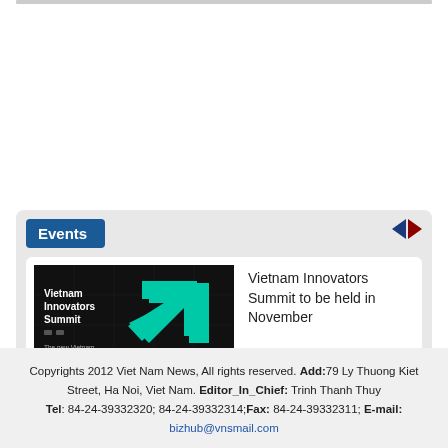Events
[Figure (illustration): Vietnam Innovators Summit promotional banner with teal arrow logo on dark background]
Vietnam Innovators Summit to be held in November
Copyrights 2012 Viet Nam News, All rights reserved. Add: 79 Ly Thuong Kiet Street, Ha Noi, Viet Nam. Editor_In_Chief: Trinh Thanh Thuy Tel: 84-24-39332320; 84-24-39332314; Fax: 84-24-39332311; E-mail: bizhub@vnsmail.com